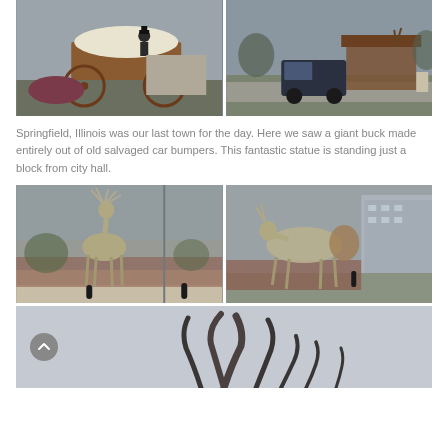[Figure (photo): Covered wagon sculpture with figure sitting on top, rust-colored wagon with large wheels, overcast sky background]
[Figure (photo): Dark van driving past a rust-colored barn structure with deer sculpture, overcast sky]
Springfield, Illinois was our last town for the day. Here we saw a giant buck made entirely out of old salvaged car bumpers. This fantastic statue is standing just a block from city hall.
[Figure (photo): Metal deer/buck sculpture made from salvaged car parts in outdoor plaza, overcast sky]
[Figure (photo): Close-up of metal deer sculptures made from salvaged car bumpers, building in background]
[Figure (photo): Close-up of metal sculpture antlers/legs against gray sky, scroll-up button visible on left]